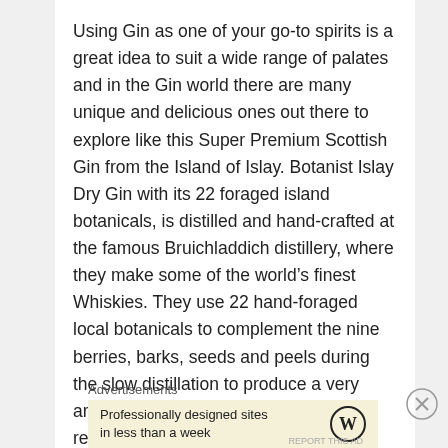Using Gin as one of your go-to spirits is a great idea to suit a wide range of palates and in the Gin world there are many unique and delicious ones out there to explore like this Super Premium Scottish Gin from the Island of Islay. Botanist Islay Dry Gin with its 22 foraged island botanicals, is distilled and hand-crafted at the famous Bruichladdich distillery, where they make some of the world’s finest Whiskies. They use 22 hand-foraged local botanicals to complement the nine berries, barks, seeds and peels during the slow distillation to produce a very aromatic and flavorful Dry Gin. The results is a satin smooth aromatic Gin with complex flavours and great texture which
Advertisements
Professionally designed sites in less than a week